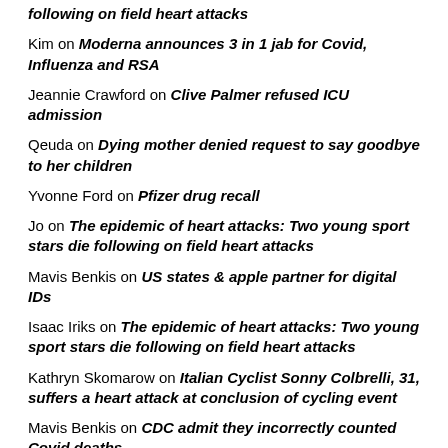following on field heart attacks
Kim on Moderna announces 3 in 1 jab for Covid, Influenza and RSA
Jeannie Crawford on Clive Palmer refused ICU admission
Qeuda on Dying mother denied request to say goodbye to her children
Yvonne Ford on Pfizer drug recall
Jo on The epidemic of heart attacks: Two young sport stars die following on field heart attacks
Mavis Benkis on US states & apple partner for digital IDs
Isaac Iriks on The epidemic of heart attacks: Two young sport stars die following on field heart attacks
Kathryn Skomarow on Italian Cyclist Sonny Colbrelli, 31, suffers a heart attack at conclusion of cycling event
Mavis Benkis on CDC admit they incorrectly counted Covid deaths